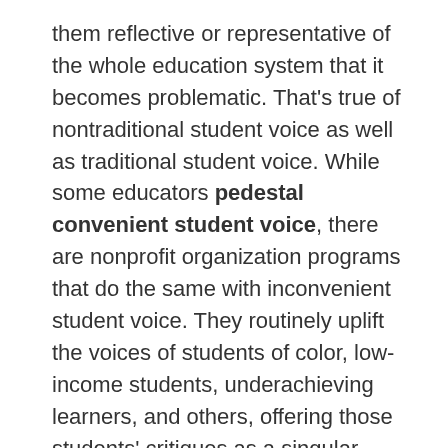them reflective or representative of the whole education system that it becomes problematic. That's true of nontraditional student voice as well as traditional student voice. While some educators pedestal convenient student voice, there are nonprofit organization programs that do the same with inconvenient student voice. They routinely uplift the voices of students of color, low-income students, underachieving learners, and others, offering those students' critiques as a singular focus for school improvement.
In reality, this isn't democracy either, as both position one group of students above others. While I readily acknowledge that all student voice is not created equal, I believe that in democracy